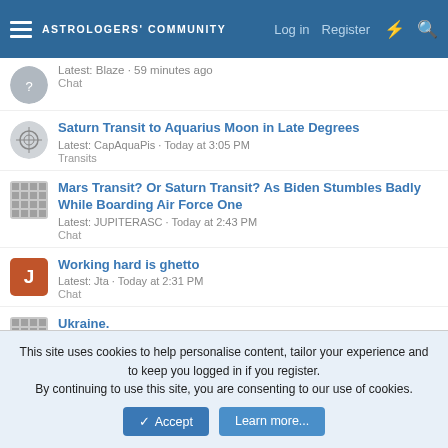ASTROLOGERS COMMUNITY  Log in  Register
Latest: Blaze · 59 minutes ago
Chat
Saturn Transit to Aquarius Moon in Late Degrees
Latest: CapAquaPis · Today at 3:05 PM
Transits
Mars Transit? Or Saturn Transit? As Biden Stumbles Badly While Boarding Air Force One
Latest: JUPITERASC · Today at 2:43 PM
Chat
Working hard is ghetto
Latest: Jta · Today at 2:31 PM
Chat
Ukraine.
Latest: JUPITERASC · Today at 1:56 PM
This site uses cookies to help personalise content, tailor your experience and to keep you logged in if you register.
By continuing to use this site, you are consenting to our use of cookies.